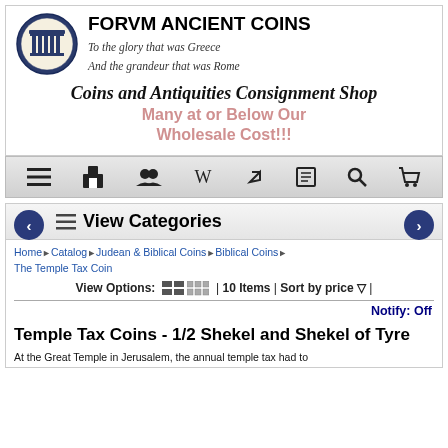[Figure (logo): Forum Ancient Coins circular logo with columns/temple image]
FORVM ANCIENT COINS
To the glory that was Greece
And the grandeur that was Rome
Coins and Antiquities Consignment Shop
Many at or Below Our Wholesale Cost!!!
[Figure (screenshot): Navigation toolbar with icons: hamburger menu, shop, people/group, Wikipedia W, link/arrow, document, search, cart]
View Categories
Home ▶ Catalog ▶ Judean & Biblical Coins ▶ Biblical Coins ▶ The Temple Tax Coin
View Options: [grid icons] | 10 Items | Sort by price ▽ |
Notify: Off
Temple Tax Coins - 1/2 Shekel and Shekel of Tyre
At the Great Temple in Jerusalem, the annual temple tax had to...